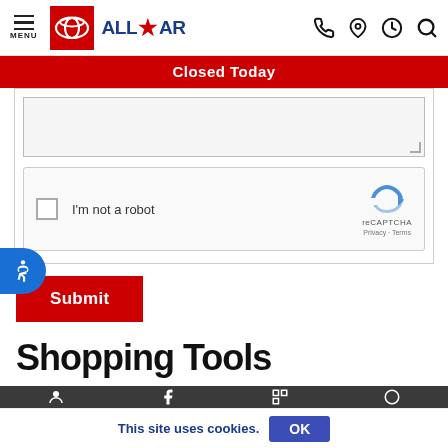All Star Toyota - Menu, Phone, Location, Hours, Search
Closed Today
[Figure (screenshot): Textarea input field with resize handle]
[Figure (screenshot): reCAPTCHA widget - I'm not a robot checkbox with reCAPTCHA logo, Privacy and Terms links]
Submit
Shopping Tools
This site uses cookies.
OK